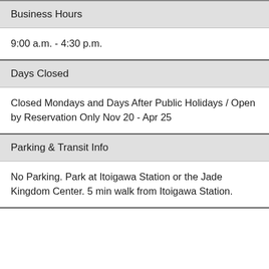Business Hours
9:00 a.m. - 4:30 p.m.
Days Closed
Closed Mondays and Days After Public Holidays / Open by Reservation Only Nov 20 - Apr 25
Parking & Transit Info
No Parking. Park at Itoigawa Station or the Jade Kingdom Center. 5 min walk from Itoigawa Station.